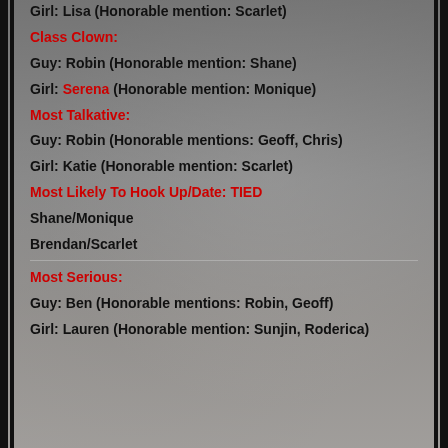Girl: Lisa (Honorable mention: Scarlet)
Class Clown:
Guy: Robin (Honorable mention: Shane)
Girl: Serena (Honorable mention: Monique)
Most Talkative:
Guy: Robin (Honorable mentions: Geoff, Chris)
Girl: Katie (Honorable mention: Scarlet)
Most Likely To Hook Up/Date: TIED
Shane/Monique
Brendan/Scarlet
Most Serious:
Guy: Ben (Honorable mentions: Robin, Geoff)
Girl: Lauren (Honorable mention: Sunjin, Roderica)